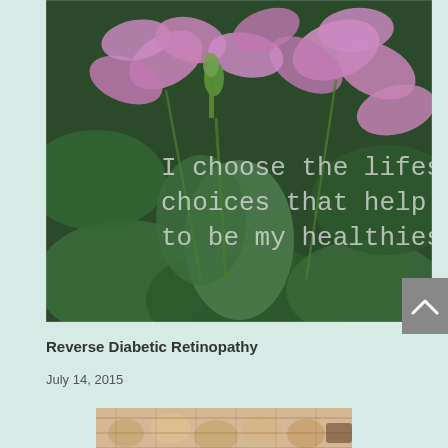[Figure (photo): Photo of pink flowers with overlaid text reading 'I choose the lifestyle choices that help me to be my healthiest.' on a dark green floral background.]
Reverse Diabetic Retinopathy
July 14, 2015
[Figure (photo): Partial photo of a basket of bread/grains, partially visible at the bottom of the page.]